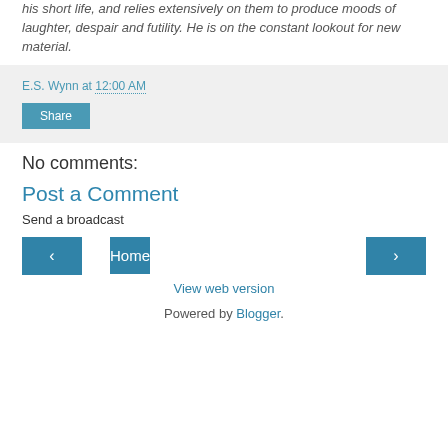his short life, and relies extensively on them to produce moods of laughter, despair and futility. He is on the constant lookout for new material.
E.S. Wynn at 12:00 AM
Share
No comments:
Post a Comment
Send a broadcast
‹
Home
›
View web version
Powered by Blogger.